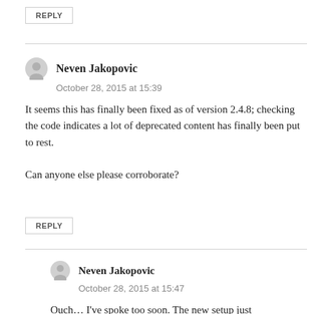REPLY
Neven Jakopovic
October 28, 2015 at 15:39
It seems this has finally been fixed as of version 2.4.8; checking the code indicates a lot of deprecated content has finally been put to rest.

Can anyone else please corroborate?
REPLY
Neven Jakopovic
October 28, 2015 at 15:47
Ouch… I've spoke too soon. The new setup just